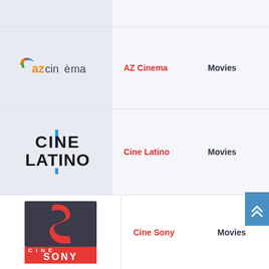[Figure (other): Empty row at top]
[Figure (logo): AZ Cinema logo - azcinema brand mark with colorful icon]
AZ Cinema
Movies
[Figure (logo): Cine Latino logo - bold black text with blue vertical bar accent]
Cine Latino
Movies
[Figure (photo): Cine Sony channel logo - red S letter on dark background with CINE SONY text below in red banner]
Cine Sony
Movies
CINEMAX